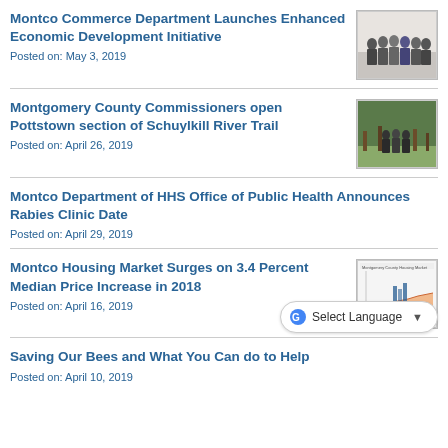Montco Commerce Department Launches Enhanced Economic Development Initiative
Posted on: May 3, 2019
[Figure (photo): Group of people standing in formal attire]
Montgomery County Commissioners open Pottstown section of Schuylkill River Trail
Posted on: April 26, 2019
[Figure (photo): People standing outdoors near trees]
Montco Department of HHS Office of Public Health Announces Rabies Clinic Date
Posted on: April 29, 2019
Montco Housing Market Surges on 3.4 Percent Median Price Increase in 2018
Posted on: April 16, 2019
[Figure (area-chart): Housing market area chart showing median price trends]
Saving Our Bees and What You Can do to Help
Posted on: April 10, 2019